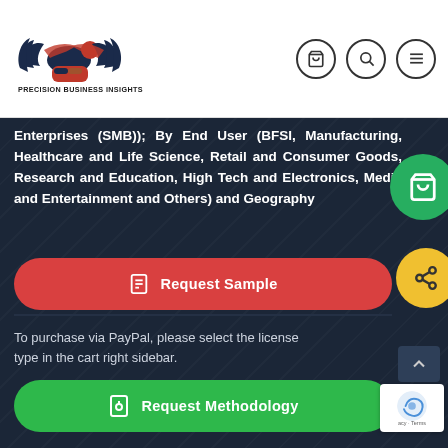[Figure (logo): Precision Business Insights logo — eagle with handshake, red and dark blue colors]
PRECISION BUSINESS INSIGHTS
Agile| Accurate |Actionable Insights
Enterprises (SMB)); By End User (BFSI, Manufacturing, Healthcare and Life Science, Retail and Consumer Goods, Research and Education, High Tech and Electronics, Media and Entertainment and Others) and Geography
To purchase via PayPal, please select the license type in the cart right sidebar.
Request Sample
Request Methodology